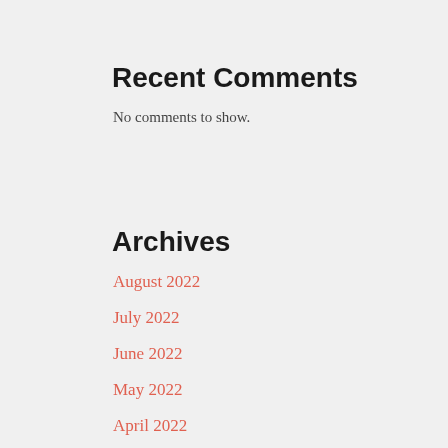Recent Comments
No comments to show.
Archives
August 2022
July 2022
June 2022
May 2022
April 2022
March 2022
February 2022